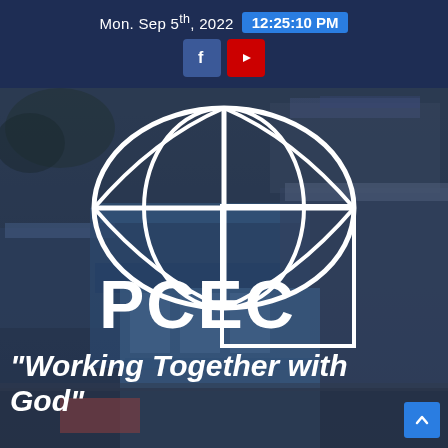Mon. Sep 5th, 2022  12:25:10 PM
[Figure (logo): PCEC logo — globe/cross design in white with PCEC text, overlaid on aerial grayscale/blue-tinted photo of buildings]
"Working Together with God"